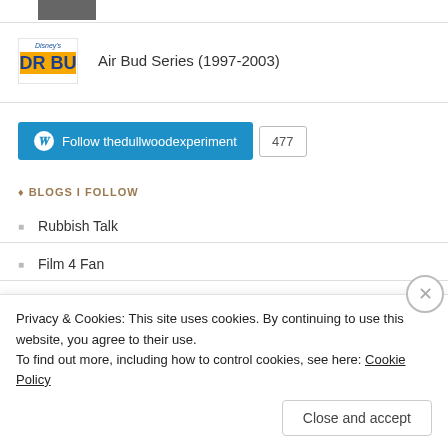[Figure (photo): Small image thumbnail at top of page]
Air Bud Series (1997-2003)
[Figure (logo): Air Bud / Dr. Bud Disney logo]
[Figure (screenshot): Follow thedullwoodexperiment button with 477 followers count]
BLOGS I FOLLOW
Rubbish Talk
Film 4 Fan
Fast Film Reviews
The Film Blog
Privacy & Cookies: This site uses cookies. By continuing to use this website, you agree to their use.
To find out more, including how to control cookies, see here: Cookie Policy
Close and accept